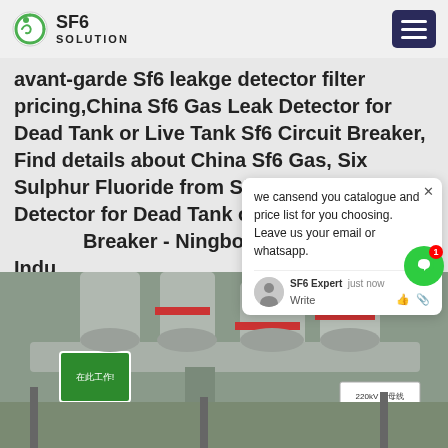SF6 SOLUTION
avant-garde Sf6 leakge detector filter pricing,China Sf6 Gas Leak Detector for Dead Tank or Live Tank Sf6 Circuit Breaker, Find details about China Sf6 Gas, Six Sulphur Fluoride from Sf6 Gas Leak Detector for Dead Tank or Live Tank Sf6 Circuit Breaker - Ningbo Hyuan Power Indu…
Get Price
we cansend you catalogue and price list for you choosing.
Leave us your email or whatsapp.
SF6 Expert  just now
Write
[Figure (photo): Industrial SF6 gas circuit breaker equipment with grey pipes and red-banded flanges, green safety sign in Chinese (在此工作) visible on the left, and a Chinese label on the right reading 220kV 导母线. Outdoor electrical substation equipment.]